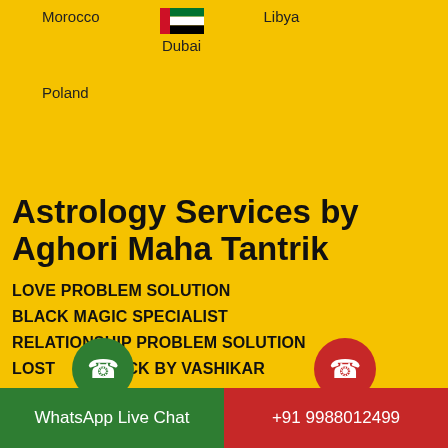[Figure (illustration): Dubai flag (UAE flag) small image at the top center]
Morocco    Dubai    Libya
Poland
Astrology Services by Aghori Maha Tantrik
LOVE PROBLEM SOLUTION
BLACK MAGIC SPECIALIST
RELATIONSHIP PROBLEM SOLUTION
LOST LOVE BACK BY VASHIKARAN
WhatsApp Live Chat
+91 9988012499